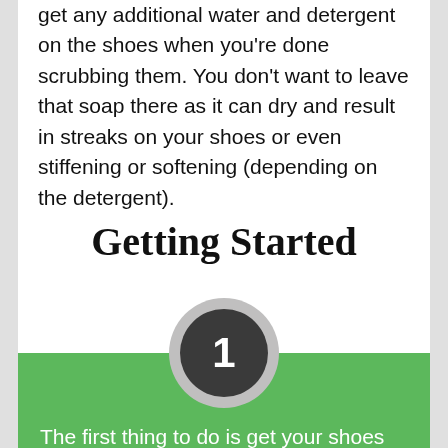get any additional water and detergent on the shoes when you're done scrubbing them. You don't want to leave that soap there as it can dry and result in streaks on your shoes or even stiffening or softening (depending on the detergent).
Getting Started
1. The first thing to do is get your shoes out and use your soft-bristled brush to get off everything you can. You don't need any water or soap or anything else at this stage. Just use your brush